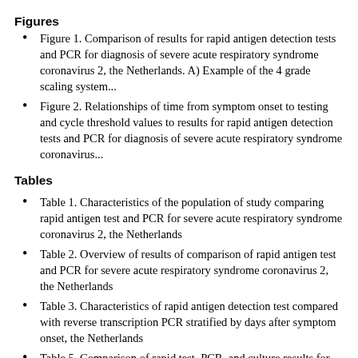Figures
Figure 1. Comparison of results for rapid antigen detection tests and PCR for diagnosis of severe acute respiratory syndrome coronavirus 2, the Netherlands. A) Example of the 4 grade scaling system...
Figure 2. Relationships of time from symptom onset to testing and cycle threshold values to results for rapid antigen detection tests and PCR for diagnosis of severe acute respiratory syndrome coronavirus...
Tables
Table 1. Characteristics of the population of study comparing rapid antigen test and PCR for severe acute respiratory syndrome coronavirus 2, the Netherlands
Table 2. Overview of results of comparison of rapid antigen test and PCR for severe acute respiratory syndrome coronavirus 2, the Netherlands
Table 3. Characteristics of rapid antigen detection test compared with reverse transcription PCR stratified by days after symptom onset, the Netherlands
Table 5. Comparison of rapid test, PCR, and culture results for severe acute respiratory syndrome coronavirus 2, the